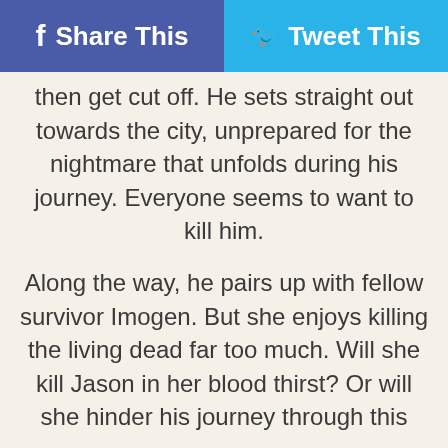Share This | Tweet This
then get cut off. He sets straight out towards the city, unprepared for the nightmare that unfolds during his journey. Everyone seems to want to kill him.
Along the way, he pairs up with fellow survivor Imogen. But she enjoys killing the living dead far too much. Will she kill Jason in her blood thirst? Or will she hinder his journey through this